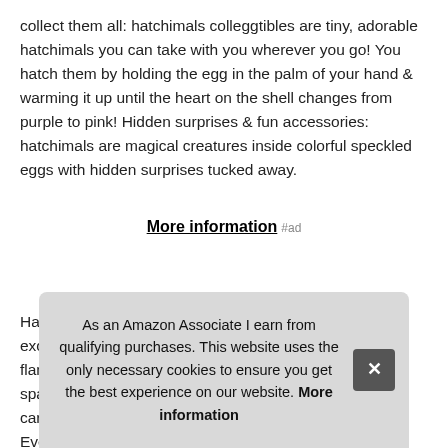collect them all: hatchimals colleggtibles are tiny, adorable hatchimals you can take with you wherever you go! You hatch them by holding the egg in the palm of your hand & warming it up until the heart on the shell changes from purple to pink! Hidden surprises & fun accessories: hatchimals are magical creatures inside colorful speckled eggs with hidden surprises tucked away.
More information #ad
Hatch & 2 out-of-egg colleggtibles, including one of 2 exclusive flam spa cart Eve
As an Amazon Associate I earn from qualifying purchases. This website uses the only necessary cookies to ensure you get the best experience on our website. More information